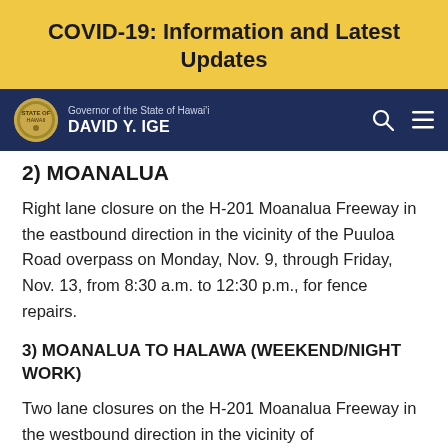COVID-19: Information and Latest Updates
[Figure (screenshot): Hawaii Governor navigation bar with state seal, name David Y. Ige, search and menu icons on dark navy background]
2) MOANALUA
Right lane closure on the H-201 Moanalua Freeway in the eastbound direction in the vicinity of the Puuloa Road overpass on Monday, Nov. 9, through Friday, Nov. 13, from 8:30 a.m. to 12:30 p.m., for fence repairs.
3) MOANALUA TO HALAWA (WEEKEND/NIGHT WORK)
Two lane closures on the H-201 Moanalua Freeway in the westbound direction in the vicinity of